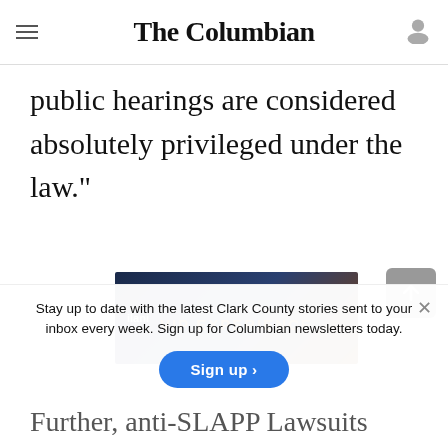The Columbian
being false, or with reckless disregard for the truth," Johnson said. "Second, statements in public hearings are considered absolutely privileged under the law."
[Figure (illustration): ilani casino advertisement banner: Enter to Win a VIP Experience]
Stay up to date with the latest Clark County stories sent to your inbox every week. Sign up for Columbian newsletters today.
Further, anti-SLAPP Lawsuits